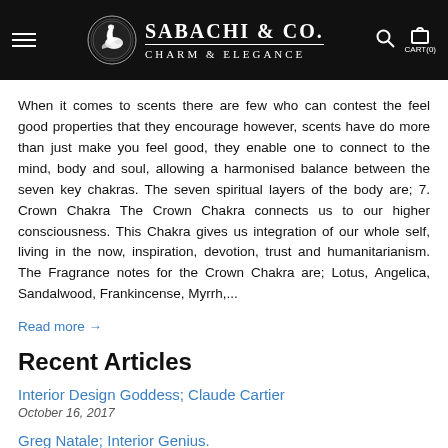SABACHI & CO. CHARM & ELEGANCE
When it comes to scents there are few who can contest the feel good properties that they encourage however, scents have do more than just make you feel good, they enable one to connect to the mind, body and soul, allowing a harmonised balance between the seven key chakras. The seven spiritual layers of the body are; 7. Crown Chakra The Crown Chakra connects us to our higher consciousness. This Chakra gives us integration of our whole self, living in the now, inspiration, devotion, trust and humanitarianism. The Fragrance notes for the Crown Chakra are; Lotus, Angelica, Sandalwood, Frankincense, Myrrh,...
Read more →
Recent Articles
Interior Design Goddess; Claude Cartier
October 16, 2017
Greg Natale; Interior Genius.